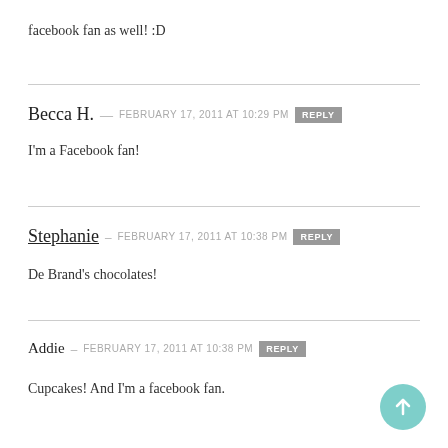facebook fan as well! :D
Becca H. — FEBRUARY 17, 2011 at 10:29 PM   REPLY
I'm a Facebook fan!
Stephanie — FEBRUARY 17, 2011 at 10:38 PM   REPLY
De Brand's chocolates!
Addie — FEBRUARY 17, 2011 at 10:38 PM   REPLY
Cupcakes! And I'm a facebook fan.